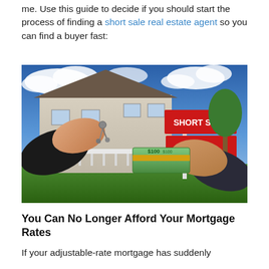me. Use this guide to decide if you should start the process of finding a short sale real estate agent so you can find a buyer fast:
[Figure (photo): Photo of two people exchanging house keys and a stack of cash in front of a suburban house with a red SHORT SALE sign on the front lawn.]
You Can No Longer Afford Your Mortgage Rates
If your adjustable-rate mortgage has suddenly